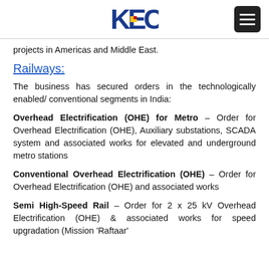KEC [logo] [menu button]
projects in Americas and Middle East.
Railways:
The business has secured orders in the technologically enabled/ conventional segments in India:
Overhead Electrification (OHE) for Metro – Order for Overhead Electrification (OHE), Auxiliary substations, SCADA system and associated works for elevated and underground metro stations
Conventional Overhead Electrification (OHE) – Order for Overhead Electrification (OHE) and associated works
Semi High-Speed Rail – Order for 2 x 25 kV Overhead Electrification (OHE) & associated works for speed upgradation (Mission 'Raftaar'